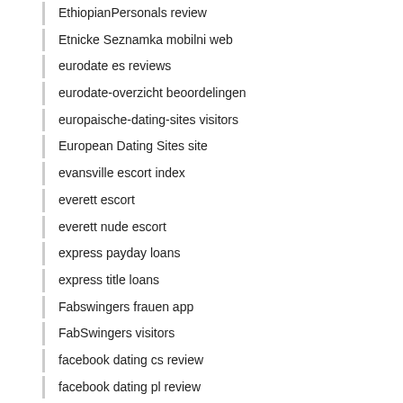EthiopianPersonals review
Etnicke Seznamka mobilni web
eurodate es reviews
eurodate-overzicht beoordelingen
europaische-dating-sites visitors
European Dating Sites site
evansville escort index
everett escort
everett nude escort
express payday loans
express title loans
Fabswingers frauen app
FabSwingers visitors
facebook dating cs review
facebook dating pl review